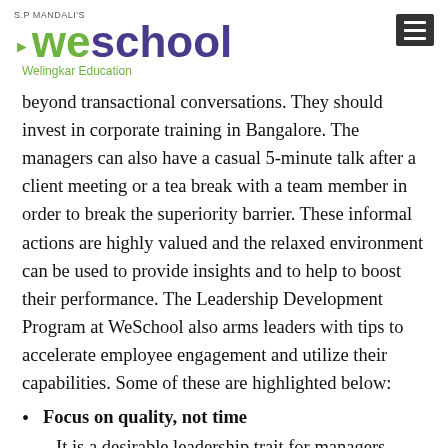S.P MANDALI'S WeSchool Welingkar Education
beyond transactional conversations. They should invest in corporate training in Bangalore. The managers can also have a casual 5-minute talk after a client meeting or a tea break with a team member in order to break the superiority barrier. These informal actions are highly valued and the relaxed environment can be used to provide insights and to help to boost their performance. The Leadership Development Program at WeSchool also arms leaders with tips to accelerate employee engagement and utilize their capabilities. Some of these are highlighted below:
Focus on quality, not time — It is a desirable leadership trait for managers